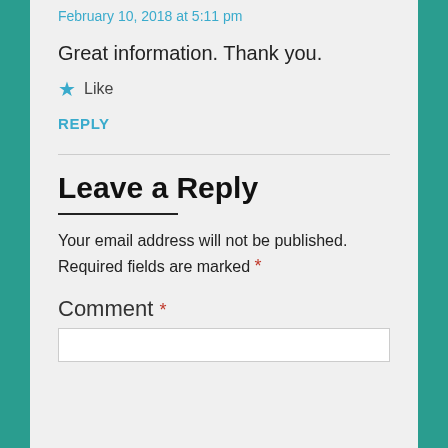February 10, 2018 at 5:11 pm
Great information. Thank you.
★ Like
REPLY
Leave a Reply
Your email address will not be published. Required fields are marked *
Comment *